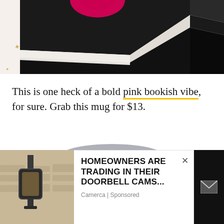[Figure (photo): Close-up photo of a black hardcover book with white pages on a white surface decorated with small gold star shapes. A pink circular logo/sticker is partially visible at the top.]
This is one heck of a bold pink bookish vibe, for sure. Grab this mug for $13.
[Figure (photo): A glass jar with a silver lid filled with small pink star-shaped candies/confetti, partially visible at the bottom of the page.]
[Figure (photo): Advertisement photo showing a security camera mounted on a wall lantern/light fixture on a stone/stucco wall exterior.]
HOMEOWNERS ARE TRADING IN THEIR DOORBELL CAMS...
Camerca | Sponsored